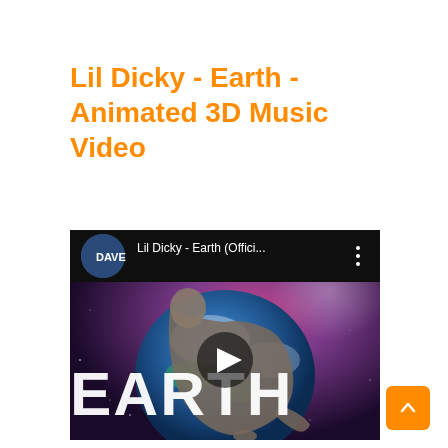Lil Dicky - Earth - Animated 3D Music Video
[Figure (screenshot): YouTube video embed showing 'Lil Dicky - Earth (Offici...' with a thumbnail of an animated figure hugging a 3D Earth globe against a space background with the word EARTH in large letters. A play button is visible in the center.]